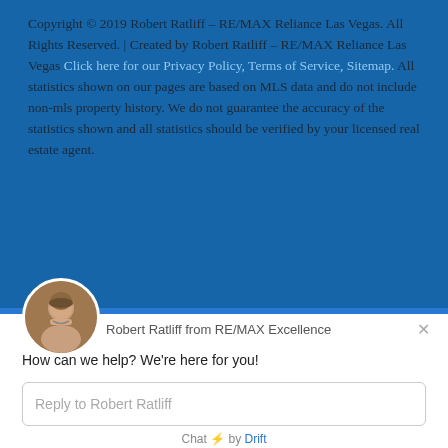Copyright © 2019 Robert Ratliff – RE/MAX Reliance Las Vegas. All Rights Reserved. | Created by Robert Ratliff – RE/MAX Reliance Las Vegas Click here for our Privacy Policy, Terms of Service, Sitemap. All statistics shown on our pages are based on MLS data and do not include non-mls property history. We do not guarantee the accuracy of the statistics shown and all statistics should be verified by your licensed real estate agent.
[Figure (photo): Circular avatar photo of Robert Ratliff, a bald man with a grey beard]
Robert Ratliff from RE/MAX Excellence
How can we help? We're here for you!
Reply to Robert Ratliff
Chat ⚡ by Drift